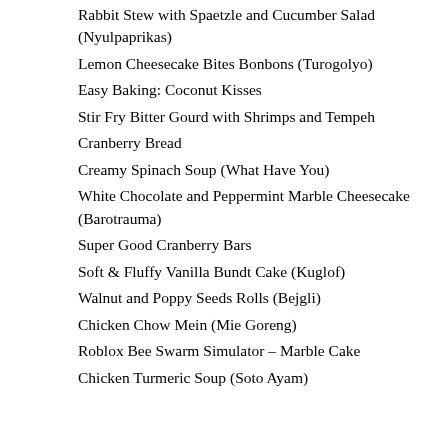Rabbit Stew with Spaetzle and Cucumber Salad (Nyulpaprikas)
Lemon Cheesecake Bites Bonbons (Turogolyo)
Easy Baking: Coconut Kisses
Stir Fry Bitter Gourd with Shrimps and Tempeh
Cranberry Bread
Creamy Spinach Soup (What Have You)
White Chocolate and Peppermint Marble Cheesecake (Barotrauma)
Super Good Cranberry Bars
Soft & Fluffy Vanilla Bundt Cake (Kuglof)
Walnut and Poppy Seeds Rolls (Bejgli)
Chicken Chow Mein (Mie Goreng)
Roblox Bee Swarm Simulator – Marble Cake
Chicken Turmeric Soup (Soto Ayam)